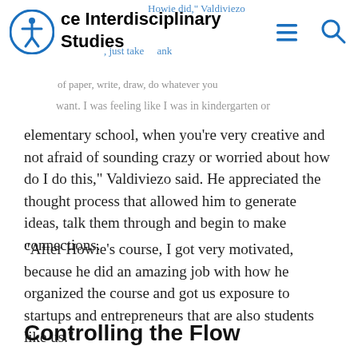ce Interdisciplinary Studies
want. I was feeling like I was in kindergarten or elementary school, when you’re very creative and not afraid of sounding crazy or worried about how do I do this,” Valdiviezo said. He appreciated the thought process that allowed him to generate ideas, talk them through and begin to make connections.
“After Howie’s course, I got very motivated, because he did an amazing job with how he organized the course and got us exposure to startups and entrepreneurs that are also students like us.”
Controlling the Flow